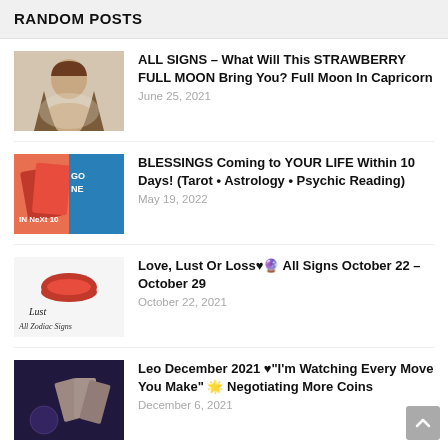RANDOM POSTS
[Figure (photo): Thumbnail of a young woman with long brown hair against a light background]
ALL SIGNS – What Will This STRAWBERRY FULL MOON Bring You? Full Moon In Capricorn
June 25, 2021
[Figure (photo): Thumbnail showing tarot cards with text 'IN NeXt 10' and colorful background]
BLESSINGS Coming to YOUR LIFE Within 10 Days! (Tarot • Astrology • Psychic Reading)
May 19, 2022
[Figure (photo): Thumbnail with red lips image and text 'Lust All Zodiac Signs']
Love, Lust Or Loss♥🔮 All Signs October 22 – October 29
October 22, 2021
[Figure (photo): Thumbnail of tarot cards being held with a crystal ball visible]
Leo December 2021 ♥"I'm Watching Every Move You Make" 🌟 Negotiating More Coins
December 6, 2021